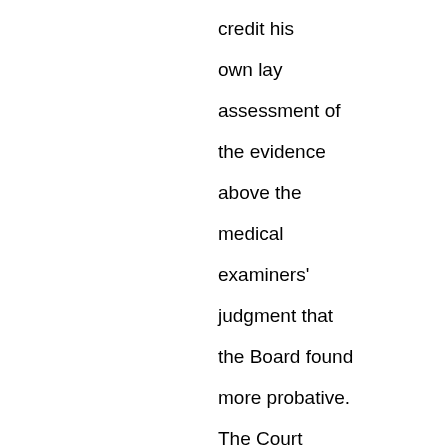credit his own lay assessment of the evidence above the medical examiners' judgment that the Board found more probative. The Court cannot oblige. The Board is fully entitled to determine as a factual matter that lay opinion is not